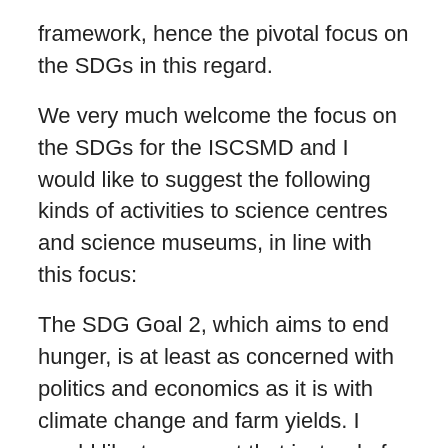framework, hence the pivotal focus on the SDGs in this regard.
We very much welcome the focus on the SDGs for the ISCSMD and I would like to suggest the following kinds of activities to science centres and science museums, in line with this focus:
The SDG Goal 2, which aims to end hunger, is at least as concerned with politics and economics as it is with climate change and farm yields. I would like to suggest that instead of the usual narrow focus on the science of genetically-modified foods and the polarized debates which it generates, that on November 10, some science centers could actually engage in a multidisciplinary and co-generated activity involving natural and social scientists, economists, and philosophers to explore the complex nature of the inter-linkages between topics like agricultural